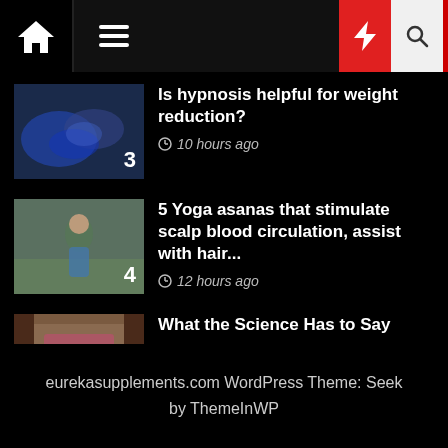eurekasupplements.com - navigation bar with home, menu, dark mode, lightning, search icons
[Figure (photo): Blue-tinted hands touching, dark background]
Is hypnosis helpful for weight reduction?
10 hours ago
[Figure (photo): Woman in blue shirt holding yoga mat outdoors]
5 Yoga asanas that stimulate scalp blood circulation, assist with hair...
12 hours ago
[Figure (photo): Sauna interior with wooden walls and pink light]
What the Science Has to Say
14 hours ago
eurekasupplements.com WordPress Theme: Seek by ThemeInWP